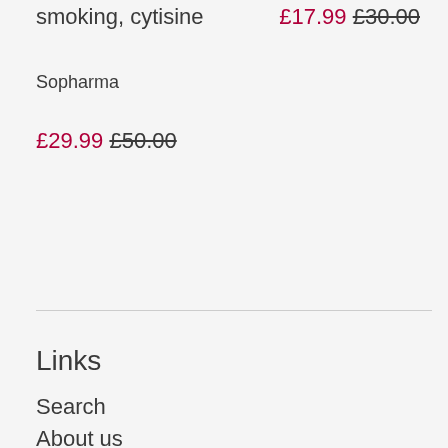smoking, cytisine
£17.99 £30.00
Sopharma
£29.99 £50.00
Links
Search
About us
Contact-us
Money back guarantee
Dispatch time
FAQS
Returns Policy